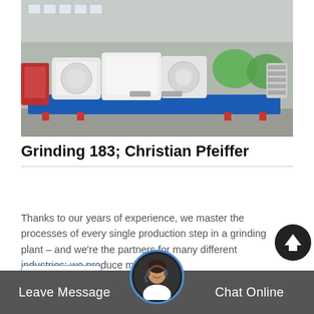[Figure (photo): Industrial grinding machinery (white and blue) on a flatbed, with various motors and mechanical parts, photographed outdoors in a factory yard.]
Grinding 183; Christian Pfeiffer
Thanks to our years of experience, we master the processes of every single production step in a grinding plant – and we're the partners for many different industries: we produce mills for...
See Details
Leave Message   Chat Online